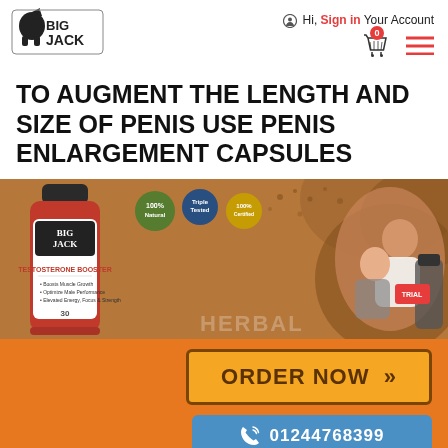[Figure (logo): BigJack brand logo with horse silhouette]
Hi, Sign in Your Account
TO AUGMENT THE LENGTH AND SIZE OF PENIS USE PENIS ENLARGEMENT CAPSULES
[Figure (photo): Product image showing BigJack Testosterone Booster bottles with badges and couple in background on brown/tan background]
ORDER NOW »
01244768399